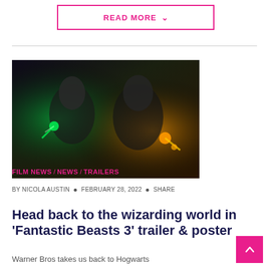READ MORE ∨
[Figure (photo): Two characters from Fantastic Beasts movie — one casting green magic, one with orange/golden lightning effects, dark dramatic background]
FILM NEWS / NEWS / TRAILERS
BY NICOLA AUSTIN • FEBRUARY 28, 2022 • SHARE
Head back to the wizarding world in 'Fantastic Beasts 3' trailer & poster
Warner Bros takes us back to Hogwarts